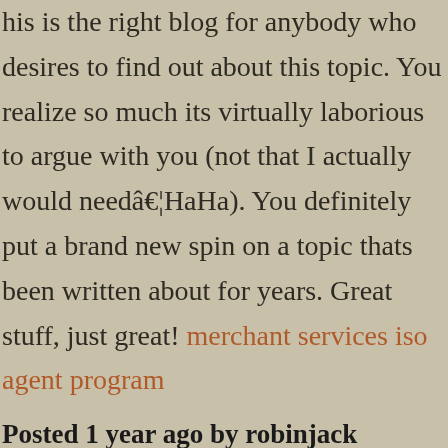his is the right blog for anybody who desires to find out about this topic. You realize so much its virtually laborious to argue with you (not that I actually would needâ€¦HaHa). You definitely put a brand new spin on a topic thats been written about for years. Great stuff, just great! merchant services iso agent program
Posted 1 year ago by robinjack
Fine, I saw your site in digg and the posts really helped me ~ merchant services sales rep
Posted 1 year ago by robinjack
I am not sure if you mean that you want to write a weblog but donâ€™t want the templates that come